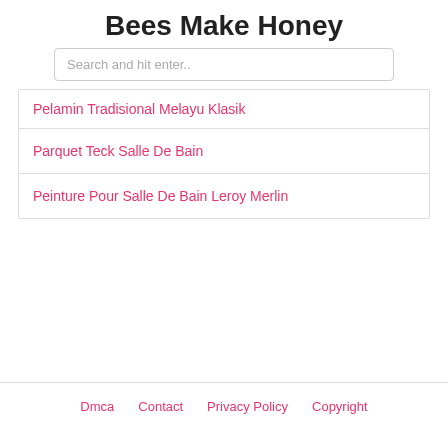Bees Make Honey
Search and hit enter..
Pelamin Tradisional Melayu Klasik
Parquet Teck Salle De Bain
Peinture Pour Salle De Bain Leroy Merlin
Dmca  Contact  Privacy Policy  Copyright